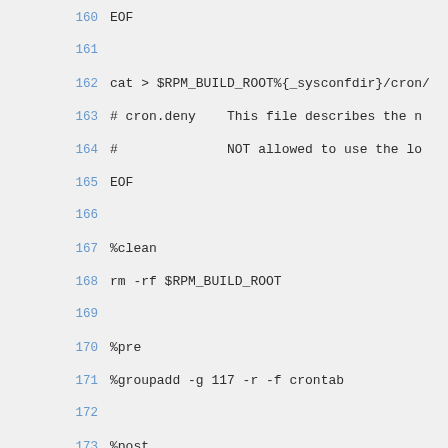160  EOF
161
162  cat > $RPM_BUILD_ROOT%{_sysconfdir}/cron/
163  # cron.deny    This file describes the n
164  #               NOT allowed to use the lo
165  EOF
166
167  %clean
168  rm -rf $RPM_BUILD_ROOT
169
170  %pre
171  %groupadd -g 117 -r -f crontab
172
173  %post
fd39f74d  174  if [ ! -f /var/log/cron ]; then